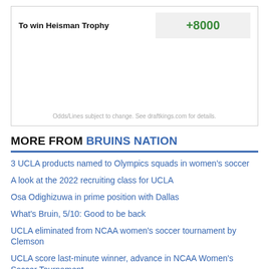|  |  |
| --- | --- |
| To win Heisman Trophy | +8000 |
Odds/Lines subject to change. See draftkings.com for details.
MORE FROM BRUINS NATION
3 UCLA products named to Olympics squads in women’s soccer
A look at the 2022 recruiting class for UCLA
Osa Odighizuwa in prime position with Dallas
What’s Bruin, 5/10: Good to be back
UCLA eliminated from NCAA women’s soccer tournament by Clemson
UCLA score last-minute winner, advance in NCAA Women’s Soccer Tournament